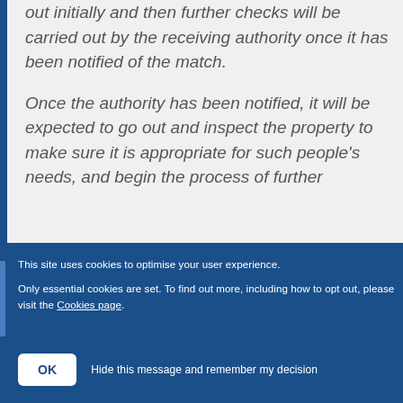out initially and then further checks will be carried out by the receiving authority once it has been notified of the match.
Once the authority has been notified, it will be expected to go out and inspect the property to make sure it is appropriate for such people's needs, and begin the process of further
This site uses cookies to optimise your user experience.
Only essential cookies are set. To find out more, including how to opt out, please visit the Cookies page.
OK  Hide this message and remember my decision